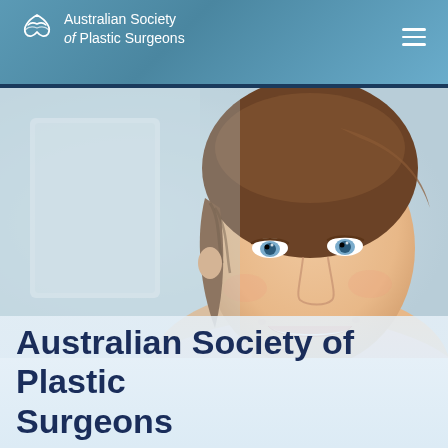Australian Society of Plastic Surgeons
[Figure (photo): Smiling young woman with brown hair pulled back, wearing a light pink top, photographed in a bright clinical/indoor setting with blurred background showing a white wall and window.]
Australian Society of Plastic Surgeons